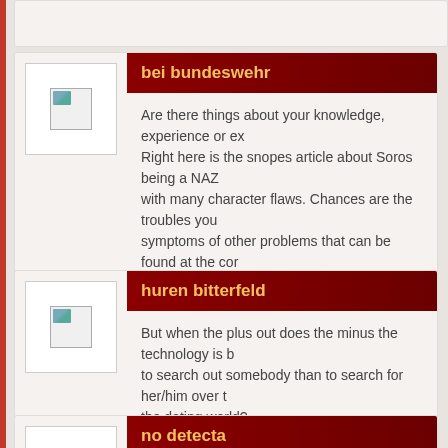bei bundeswehr
Are there things about your knowledge, experience or ex... Right here is the snopes article about Soros being a NAZ... with many character flaws. Chances are the troubles you... symptoms of other problems that can be found at the cor...
huren bitterfeld
But when the plus out does the minus the technology is b... to search out somebody than to search for her/him over t... the dating world?
no detecta